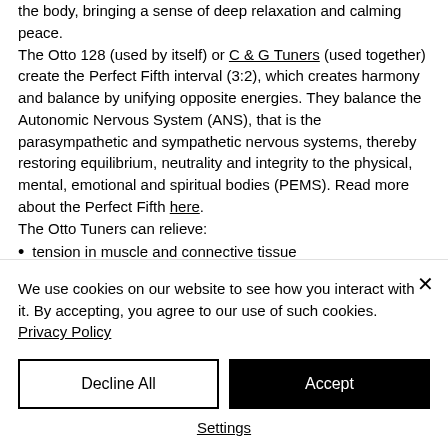the body, bringing a sense of deep relaxation and calming peace. The Otto 128 (used by itself) or C & G Tuners (used together) create the Perfect Fifth interval (3:2), which creates harmony and balance by unifying opposite energies. They balance the Autonomic Nervous System (ANS), that is the parasympathetic and sympathetic nervous systems, thereby restoring equilibrium, neutrality and integrity to the physical, mental, emotional and spiritual bodies (PEMS). Read more about the Perfect Fifth here. The Otto Tuners can relieve:
tension in muscle and connective tissue
We use cookies on our website to see how you interact with it. By accepting, you agree to our use of such cookies. Privacy Policy
Decline All
Accept
Settings